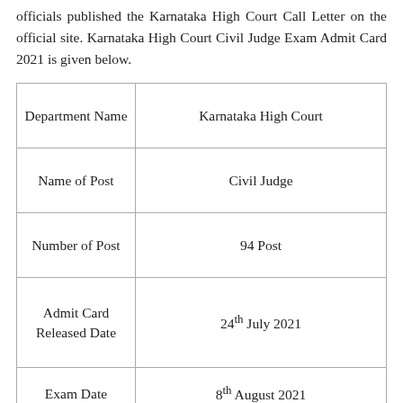officials published the Karnataka High Court Call Letter on the official site. Karnataka High Court Civil Judge Exam Admit Card 2021 is given below.
| Department Name | Karnataka High Court |
| --- | --- |
| Department Name | Karnataka High Court |
| Name of Post | Civil Judge |
| Number of Post | 94 Post |
| Admit Card Released Date | 24th July 2021 |
| Exam Date | 8th August 2021 |